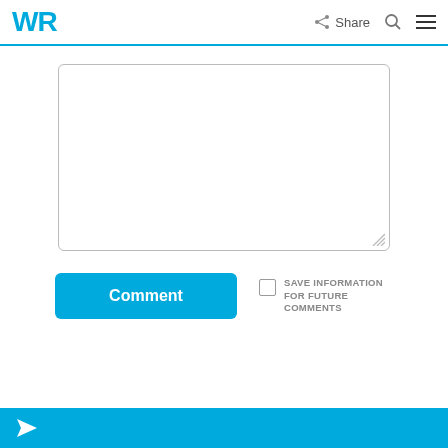WR  Share
[Figure (screenshot): Text input textarea with rounded border and resize handle]
[Figure (screenshot): Comment button (blue) and Save Information For Future Comments checkbox]
Footer bar with send/navigation icon